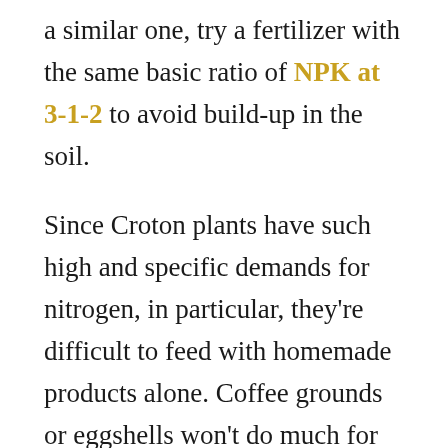a similar one, try a fertilizer with the same basic ratio of NPK at 3-1-2 to avoid build-up in the soil.
Since Croton plants have such high and specific demands for nitrogen, in particular, they're difficult to feed with homemade products alone. Coffee grounds or eggshells won't do much for them, although they can be helpful to add for slow-release micronutrients.
Store-bought chemical fertilizers are generally the best option to ensure these